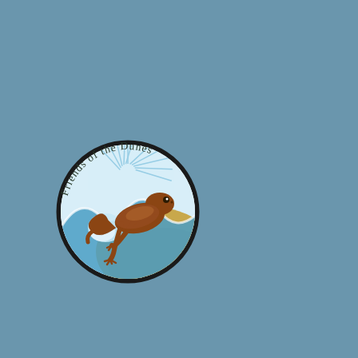[Figure (logo): Friends of the Dunes circular logo featuring a brown newt/salamander on a background of blue ocean wave and sandy dune with radiating sunbeams. Text 'Friends of the Dunes' arcs along the top of the circle.]